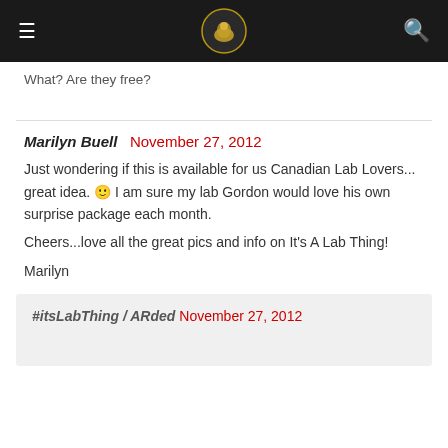☰  [logo]  🔍
What? Are they free?
Marilyn Buell November 27, 2012
Just wondering if this is available for us Canadian Lab Lovers... great idea. 🙂 I am sure my lab Gordon would love his own surprise package each month.

Cheers...love all the great pics and info on It's A Lab Thing!

Marilyn
#itsLabThing / ARded November 27, 2012